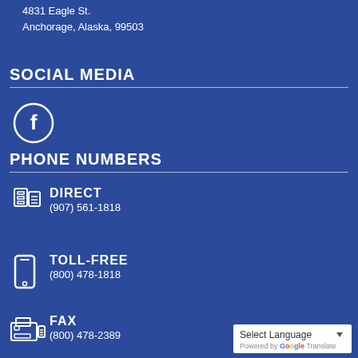4831 Eagle St.
Anchorage, Alaska, 99503
SOCIAL MEDIA
[Figure (illustration): Facebook icon: circle with letter f inside, white outline on blue background]
PHONE NUMBERS
DIRECT
(907) 561-1818
TOLL-FREE
(800) 478-1818
FAX
(800) 478-2389
Select Language
Powered by Google Translate